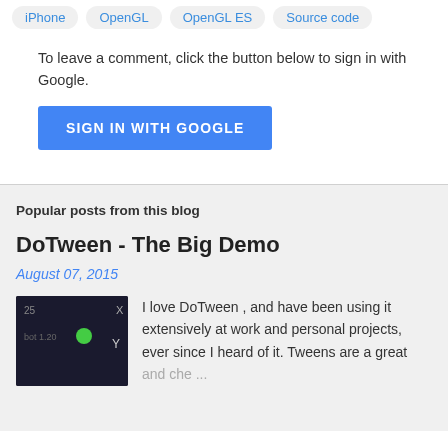iPhone
OpenGL
OpenGL ES
Source code
To leave a comment, click the button below to sign in with Google.
[Figure (screenshot): Blue 'SIGN IN WITH GOOGLE' button]
Popular posts from this blog
DoTween - The Big Demo
August 07, 2015
[Figure (screenshot): Dark screenshot thumbnail showing a green dot on dark background with 'Y' and 'bot 1.20' labels]
I love DoTween , and have been using it extensively at work and personal projects, ever since I heard of it. Tweens are a great and che ...